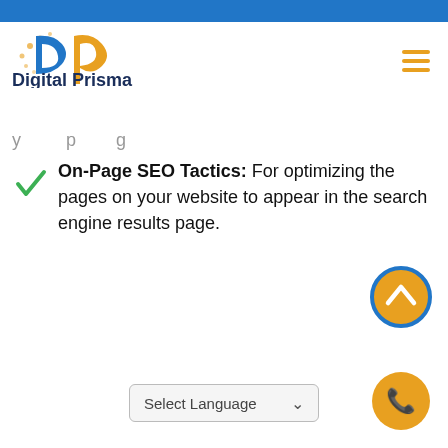[Figure (logo): Digital Prisma logo with stylized 'dp' letters in blue and orange, followed by bold text 'Digital Prisma']
y p g
On-Page SEO Tactics: For optimizing the pages on your website to appear in the search engine results page.
[Figure (other): Scroll-to-top circular button with blue border and orange fill, upward chevron arrow]
[Figure (other): Language selector dropdown showing 'Select Language']
[Figure (other): Phone call circular button in orange with phone icon]